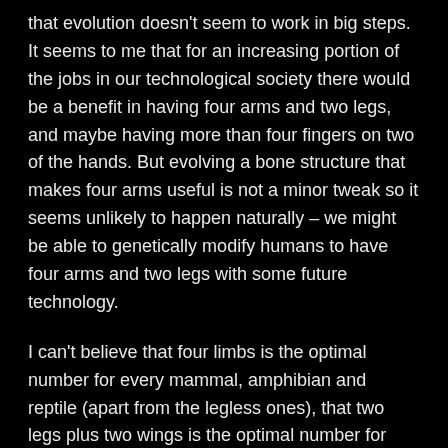that evolution doesn't seem to work in big steps. It seems to me that for an increasing portion of the jobs in our technological society there would be a benefit in having four arms and two legs, and maybe having more than four fingers on two of the hands. But evolving a bone structure that makes four arms useful is not a minor tweak so it seems unlikely to happen naturally – we might be able to genetically modify humans to have four arms and two legs with some future technology.
I can't believe that four limbs is the optimal number for every mammal, amphibian and reptile (apart from the legless ones), that two legs plus two wings is the optimal number for every bird, and that six legs is the optimal number for every insect. I also can't believe that two arms and two legs is the optimum number for every primate with the only significant difference in limbs being the